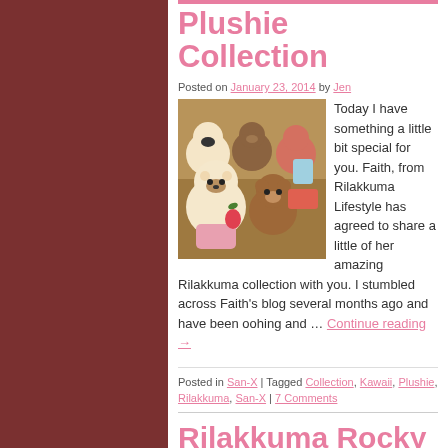Plushie Collection
Posted on January 23, 2014 by Jen
[Figure (photo): Photo of multiple Rilakkuma plushie toys arranged together, including a white bear holding a strawberry]
Today I have something a little bit special for you. Faith, from Rilakkuma Lifestyle has agreed to share a little of her amazing Rilakkuma collection with you. I stumbled across Faith's blog several months ago and have been oohing and … Continue reading →
Posted in San-X | Tagged Collection, Kawaii, Plushie, Rilakkuma, San-X | 7 Comments
Rilakkuma Rocky